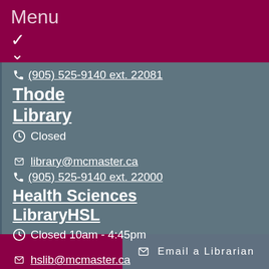Menu
(905) 525-9140 ext. 22081
Thode Library
Closed
library@mcmaster.ca
(905) 525-9140 ext. 22000
Health Sciences LibraryHSL
Closed 10am - 4:45pm
hslib@mcmaster.ca
(905) 525-9140 ext. 22327
Email a Librarian